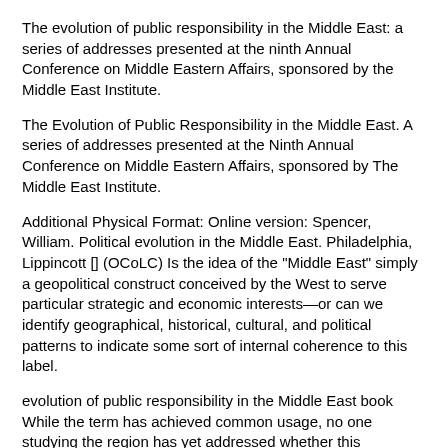The evolution of public responsibility in the Middle East: a series of addresses presented at the ninth Annual Conference on Middle Eastern Affairs, sponsored by the Middle East Institute.
The Evolution of Public Responsibility in the Middle East. A series of addresses presented at the Ninth Annual Conference on Middle Eastern Affairs, sponsored by The Middle East Institute.
Additional Physical Format: Online version: Spencer, William. Political evolution in the Middle East. Philadelphia, Lippincott [] (OCoLC) Is the idea of the "Middle East" simply a geopolitical construct conceived by the West to serve particular strategic and economic interests—or can we identify geographical, historical, cultural, and political patterns to indicate some sort of internal coherence to this label.
evolution of public responsibility in the Middle East book While the term has achieved common usage, no one studying the region has yet addressed whether this conceptualization.